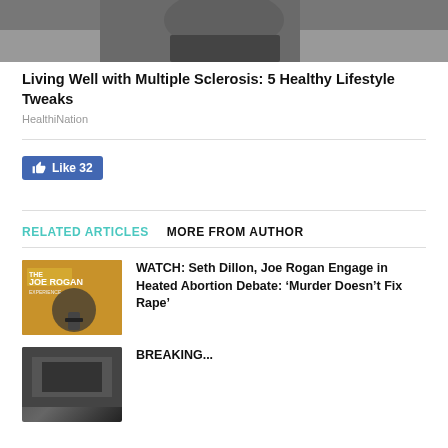[Figure (photo): Partial view of a person, cropped top image from an article about living well with multiple sclerosis]
Living Well with Multiple Sclerosis: 5 Healthy Lifestyle Tweaks
HealthiNation
[Figure (other): Facebook Like button showing 'Like 32']
RELATED ARTICLES   MORE FROM AUTHOR
[Figure (photo): Thumbnail image of Joe Rogan podcast set with yellow/orange background and microphone]
WATCH: Seth Dillon, Joe Rogan Engage in Heated Abortion Debate: ‘Murder Doesn’t Fix Rape’
[Figure (photo): Thumbnail image for a BREAKING article, partially visible]
BREAKING...